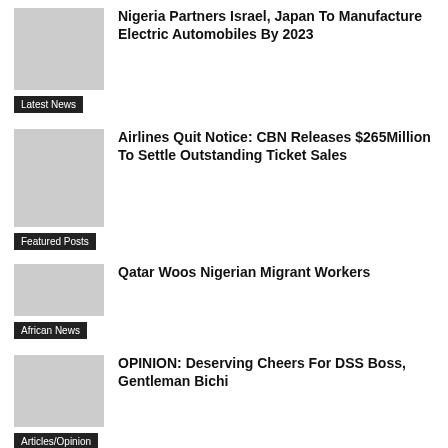Nigeria Partners Israel, Japan To Manufacture Electric Automobiles By 2023
Latest News
Airlines Quit Notice: CBN Releases $265Million To Settle Outstanding Ticket Sales
Featured Posts
Qatar Woos Nigerian Migrant Workers
African News
OPINION: Deserving Cheers For DSS Boss, Gentleman Bichi
Articles/Opinion